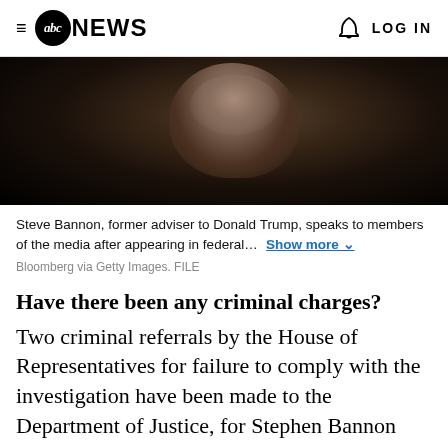≡ abc NEWS   🔔   LOG IN
[Figure (photo): Steve Bannon, former adviser to Donald Trump, photographed in low light, dark background, visible from shoulders up]
Steve Bannon, former adviser to Donald Trump, speaks to members of the media after appearing in federal...  Show more
Bloomberg via Getty Images. FILE
Have there been any criminal charges?
Two criminal referrals by the House of Representatives for failure to comply with the investigation have been made to the Department of Justice, for Stephen Bannon and Mark Meadows